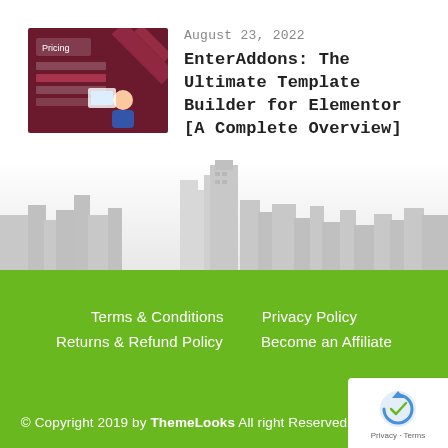[Figure (screenshot): Thumbnail image for article about EnterAddons with dark red/maroon background and pricing table illustration]
August 23, 2022
EnterAddons: The Ultimate Template Builder for Elementor [A Complete Overview]
[Figure (illustration): Gray cityscape silhouette background illustration]
Terms & Conditions
Privacy Policy
Returns & Refund Policy
Become an Affiliate
© Copyright 2019 by ThemeLooks All right Reserved